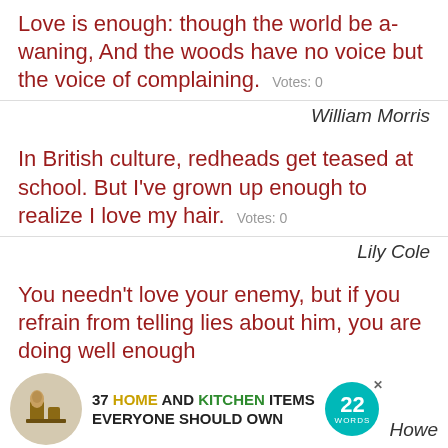Love is enough: though the world be a-waning, And the woods have no voice but the voice of complaining.   Votes: 0
William Morris
In British culture, redheads get teased at school. But I've grown up enough to realize I love my hair.   Votes: 0
Lily Cole
You needn't love your enemy, but if you refrain from telling lies about him, you are doing well enough
[Figure (infographic): Advertisement banner: 37 HOME AND KITCHEN ITEMS EVERYONE SHOULD OWN with a circular badge logo '22 WORDS' and a food/kitchen image]
Howe
You needn't love your enemy, but if you refrain